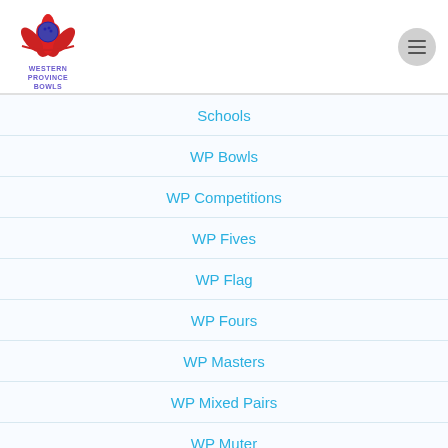[Figure (logo): Western Province Bowls logo — red lotus flower with blue bowling ball, text WESTERN PROVINCE BOWLS in purple]
Schools
WP Bowls
WP Competitions
WP Fives
WP Flag
WP Fours
WP Masters
WP Mixed Pairs
WP Muter